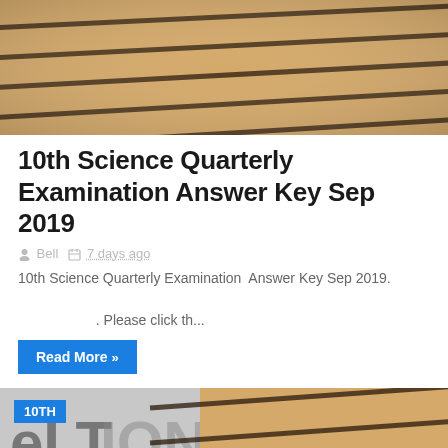[Figure (photo): Close-up photo of a notebook with diagonal ruled lines on tan/beige paper]
10th Science Quarterly Examination Answer Key Sep 2019
Bell  7 days ago
10th Science Quarterly Examination  Answer Key Sep 2019.    . Please click th...
Read More »
[Figure (photo): Partial close-up photo of a notebook with diagonal ruled lines, with a blue '10TH' badge in the top-left corner]